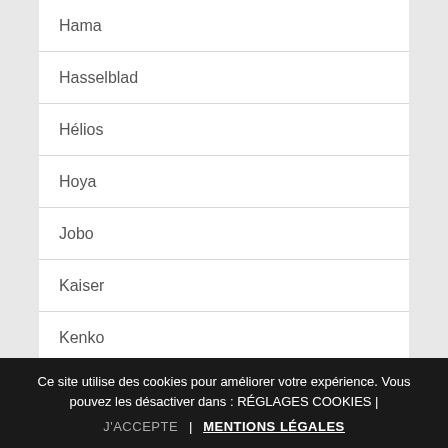Hama
Hasselblad
Hélios
Hoya
Jobo
Kaiser
Kenko
Kenlock
Kodak
Konica
Ce site utilise des cookies pour améliorer votre expérience. Vous pouvez les désactiver dans : RÉGLAGES COOKIES | J'ACCEPTE | MENTIONS LÉGALES